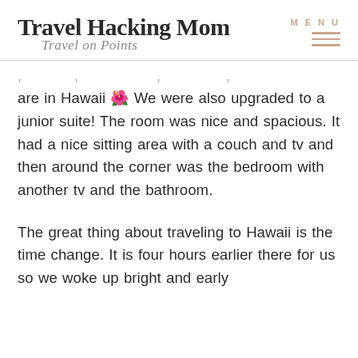Travel Hacking Mom — Travel on Points — MENU
are in Hawaii 🌺 We were also upgraded to a junior suite! The room was nice and spacious. It had a nice sitting area with a couch and tv and then around the corner was the bedroom with another tv and the bathroom.
The great thing about traveling to Hawaii is the time change. It is four hours earlier there for us so we woke up bright and early